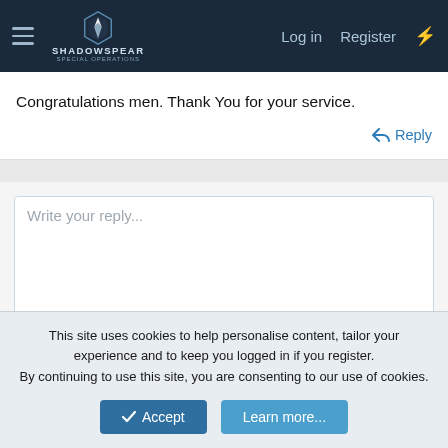ShadowSpear Special Operations — Log in | Register
Congratulations men. Thank You for your service.
Reply
Write your reply...
Post reply
Similar threads
This site uses cookies to help personalise content, tailor your experience and to keep you logged in if you register.
By continuing to use this site, you are consenting to our use of cookies.
Accept | Learn more...